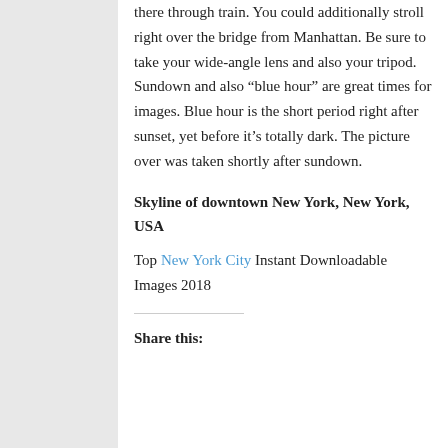there through train. You could additionally stroll right over the bridge from Manhattan. Be sure to take your wide-angle lens and also your tripod. Sundown and also “blue hour” are great times for images. Blue hour is the short period right after sunset, yet before it’s totally dark. The picture over was taken shortly after sundown.
Skyline of downtown New York, New York, USA
Top New York City Instant Downloadable Images 2018
Share this: